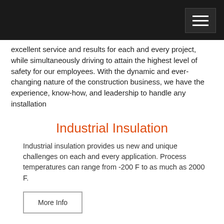excellent service and results for each and every project, while simultaneously driving to attain the highest level of safety for our employees.  With the dynamic and ever-changing nature of the construction business, we have the experience, know-how, and leadership to handle any installation
Industrial Insulation
Industrial insulation provides us new and unique challenges on each and every application.  Process temperatures can range from -200 F to as much as 2000 F.
More Info
Commercial Insulation
Cardinal can find the right insulation solution for